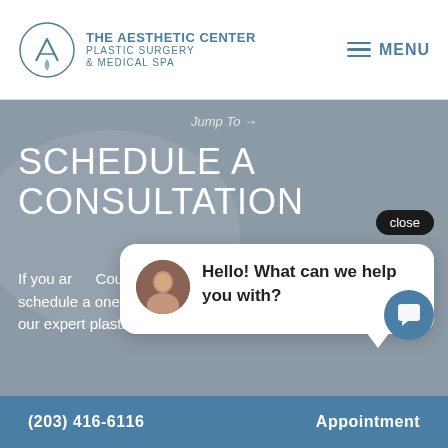[Figure (logo): The Aesthetic Center Plastic Surgery & Medical Spa logo with circular icon and text]
MENU
Jump To →
SCHEDULE A CONSULTATION
close
[Figure (screenshot): Chat widget showing avatar of a woman and message: Hello! What can we help you with?]
If you ar... County ... schedule a one-on-one consultation with one of our expert plastic surgeons.
(203) 416-6116
Appointment